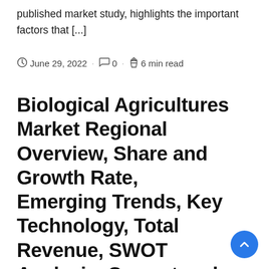published market study, highlights the important factors that [...]
June 29, 2022 · 0 · 6 min read
Biological Agricultures Market Regional Overview, Share and Growth Rate, Emerging Trends, Key Technology, Total Revenue, SWOT Analysis, Current and Future Plans by Forecast 2022 to 2028